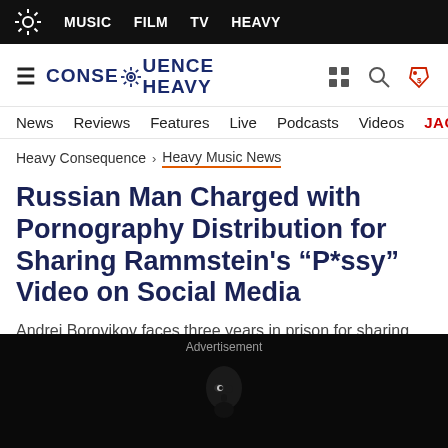MUSIC  FILM  TV  HEAVY
[Figure (logo): Consequence Heavy logo with gear icon]
News  Reviews  Features  Live  Podcasts  Videos  JACK WH
Heavy Consequence > Heavy Music News
Russian Man Charged with Pornography Distribution for Sharing Rammstein’s “P*ssy” Video on Social Media
Andrei Borovikov faces three years in prison for sharing the video on a Russian social media site in 2014
[Figure (photo): Dark advertisement image showing a person's face partially lit]